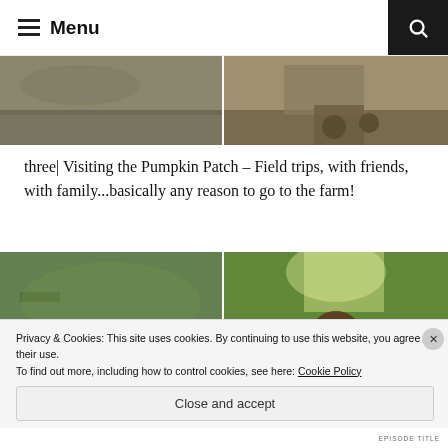≡ Menu
[Figure (photo): Two cropped photos side by side at top: left shows a dirt/gravel path, right shows a pair of shoes on a patterned surface]
three| Visiting the Pumpkin Patch – Field trips, with friends, with family...basically any reason to go to the farm!
[Figure (photo): Two photos side by side: left shows two young children sitting in front of tall green corn stalks, right shows a woman smiling amid tall green corn stalks]
Privacy & Cookies: This site uses cookies. By continuing to use this website, you agree to their use.
To find out more, including how to control cookies, see here: Cookie Policy
Close and accept